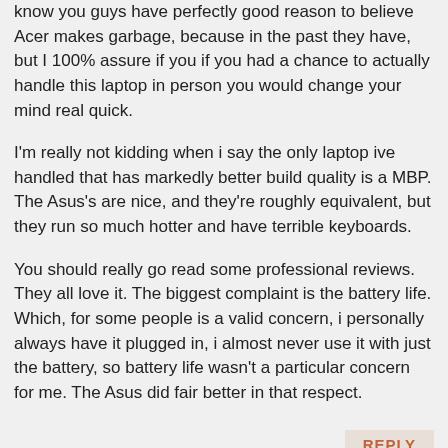know you guys have perfectly good reason to believe Acer makes garbage, because in the past they have, but I 100% assure if you if you had a chance to actually handle this laptop in person you would change your mind real quick.
I'm really not kidding when i say the only laptop ive handled that has markedly better build quality is a MBP. The Asus's are nice, and they're roughly equivalent, but they run so much hotter and have terrible keyboards.
You should really go read some professional reviews. They all love it. The biggest complaint is the battery life. Which, for some people is a valid concern, i personally always have it plugged in, i almost never use it with just the battery, so battery life wasn't a particular concern for me. The Asus did fair better in that respect.
REPLY
chetdnanawww - Thursday, March 12, 2015 - link
How about one with a 970m for $1460? Spend another $100 on 250gb SSD of your choice and your there with a 1 TB HDD to boot (so puny). Weighs 5 pounds, has 75 wh battery, dual fan cooling, IPS screen. Seems to